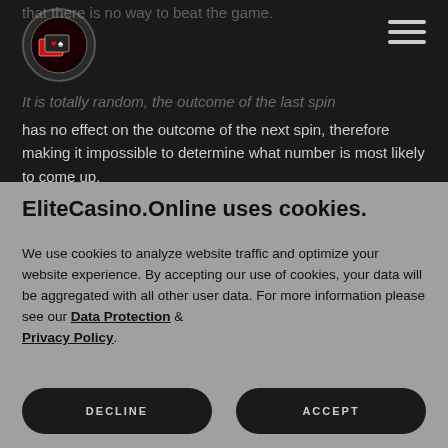EliteCasino.Online logo and navigation
that there is no way to beat the game. It is totally random, the outcome of the last spin has no effect on the outcome of the next spin, therefore making it impossible to determine what number is most likely to come up.
EliteCasino.Online uses cookies.
We use cookies to analyze website traffic and optimize your website experience. By accepting our use of cookies, your data will be aggregated with all other user data. For more information please see our Data Protection & Privacy Policy.
DECLINE
ACCEPT